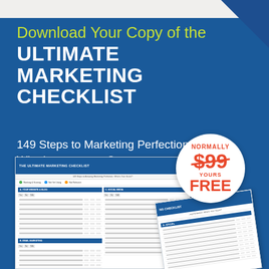Download Your Copy of the ULTIMATE MARKETING CHECKLIST
149 Steps to Marketing Perfection. What's your score?
[Figure (illustration): Mockup of the Ultimate Marketing Checklist document pages, with a circular price badge showing 'NORMALLY $99 (strikethrough) YOURS FREE']